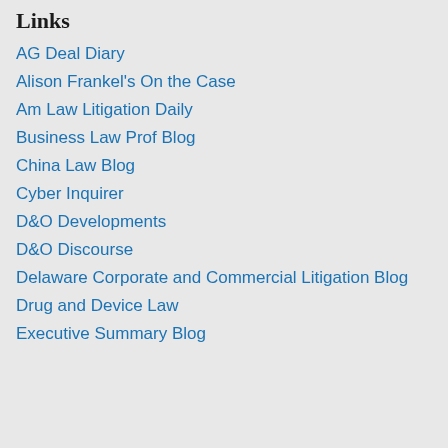Links
AG Deal Diary
Alison Frankel's On the Case
Am Law Litigation Daily
Business Law Prof Blog
China Law Blog
Cyber Inquirer
D&O Developments
D&O Discourse
Delaware Corporate and Commercial Litigation Blog
Drug and Device Law
Executive Summary Blog